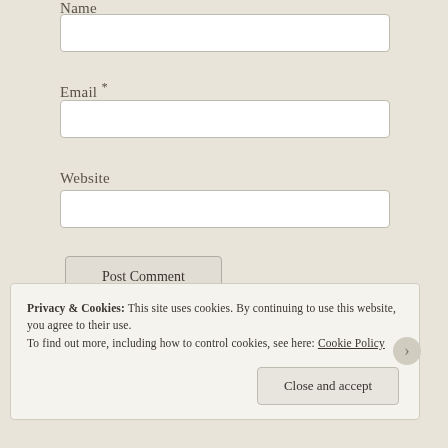Name
Email *
Website
Post Comment
Notify me of new comments via email.
Privacy & Cookies: This site uses cookies. By continuing to use this website, you agree to their use.
To find out more, including how to control cookies, see here: Cookie Policy
Close and accept